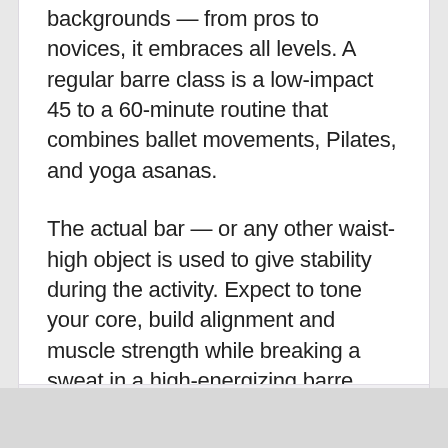backgrounds — from pros to novices, it embraces all levels. A regular barre class is a low-impact 45 to a 60-minute routine that combines ballet movements, Pilates, and yoga asanas.
The actual bar — or any other waist-high object is used to give stability during the activity. Expect to tone your core, build alignment and muscle strength while breaking a sweat in a high-energizing barre class. Here are the benefits: